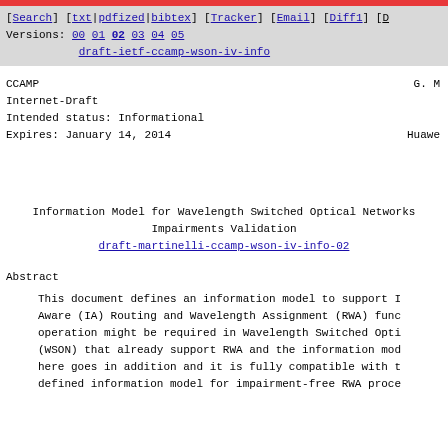[Search] [txt|pdfized|bibtex] [Tracker] [Email] [Diff1] [D Versions: 00 01 02 03 04 05 draft-ietf-ccamp-wson-iv-info
CCAMP                                                          G. M
Internet-Draft
Intended status: Informational
Expires: January 14, 2014                                      Huawe
Information Model for Wavelength Switched Optical Networks
Impairments Validation
draft-martinelli-ccamp-wson-iv-info-02
Abstract
This document defines an information model to support I Aware (IA) Routing and Wavelength Assignment (RWA) func operation might be required in Wavelength Switched Opti (WSON) that already support RWA and the information mod here goes in addition and it is fully compatible with t defined information model for impairment-free RWA proce